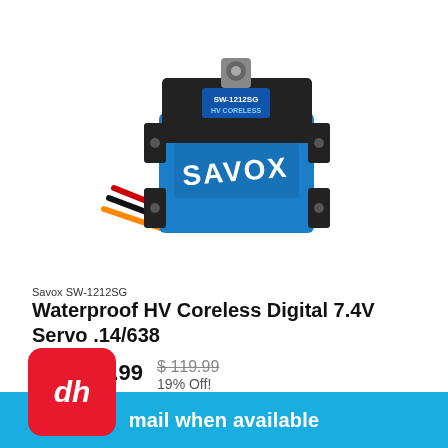[Figure (photo): Savox SW-1212SG waterproof blue digital servo motor with black mounting tabs and colored wires (red, black, orange), shown at an angle on white background]
Savox SW-1212SG
Waterproof HV Coreless Digital 7.4V Servo .14/638
$96.99  $119.99  19% Off!  SOLD OUT
mail when available